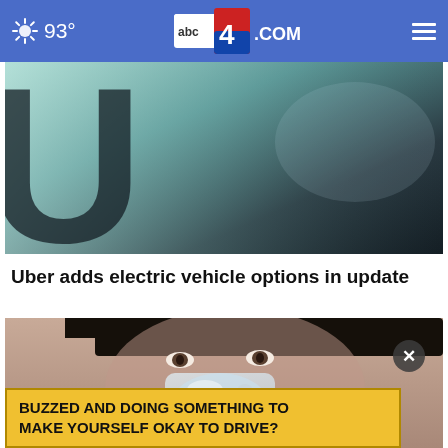93° abc4.com
[Figure (photo): Close-up photo of Uber logo/car surface with dark and teal tones]
Uber adds electric vehicle options in update
[Figure (photo): Woman holding ice pack to nose/face, with yellow ad banner overlay reading 'BUZZED AND DOING SOMETHING TO MAKE YOURSELF OKAY TO DRIVE?']
BUZZED AND DOING SOMETHING TO MAKE YOURSELF OKAY TO DRIVE?